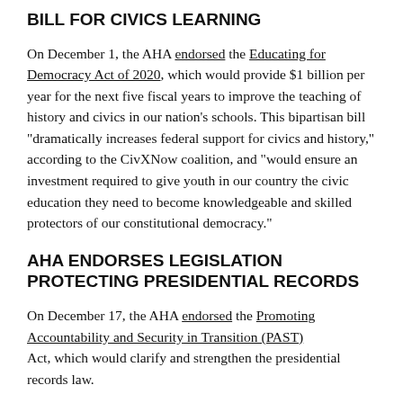BILL FOR CIVICS LEARNING
On December 1, the AHA endorsed the Educating for Democracy Act of 2020, which would provide $1 billion per year for the next five fiscal years to improve the teaching of history and civics in our nation's schools. This bipartisan bill “dramatically increases federal support for civics and history,” according to the CivXNow coalition, and “would ensure an investment required to give youth in our country the civic education they need to become knowledgeable and skilled protectors of our constitutional democracy.”
AHA ENDORSES LEGISLATION PROTECTING PRESIDENTIAL RECORDS
On December 17, the AHA endorsed the Promoting Accountability and Security in Transition (PAST) Act, which would clarify and strengthen the presidential records law.